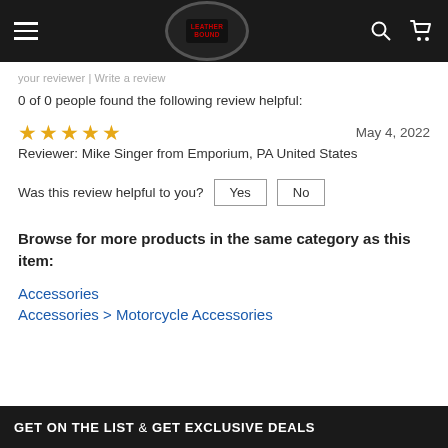Leather Bound (logo) navigation bar with hamburger menu, search, and cart icons
your reviewer | Write a review
0 of 0 people found the following review helpful:
★★★★★   May 4, 2022
Reviewer: Mike Singer from Emporium, PA United States
Was this review helpful to you? Yes  No
Browse for more products in the same category as this item:
Accessories
Accessories > Motorcycle Accessories
GET ON THE LIST & GET EXCLUSIVE DEALS